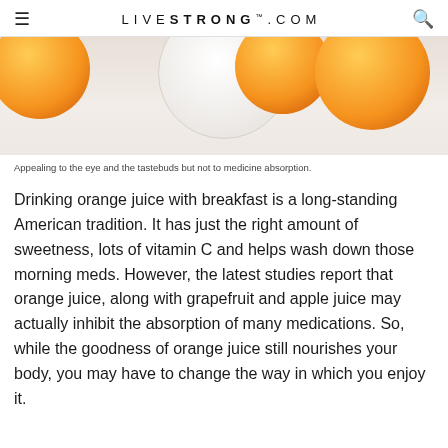LIVESTRONG.COM
[Figure (photo): Photo of oranges on a white surface with a plate, cropped to show the top portion]
Appealing to the eye and the tastebuds but not to medicine absorption.
Drinking orange juice with breakfast is a long-standing American tradition. It has just the right amount of sweetness, lots of vitamin C and helps wash down those morning meds. However, the latest studies report that orange juice, along with grapefruit and apple juice may actually inhibit the absorption of many medications. So, while the goodness of orange juice still nourishes your body, you may have to change the way in which you enjoy it.